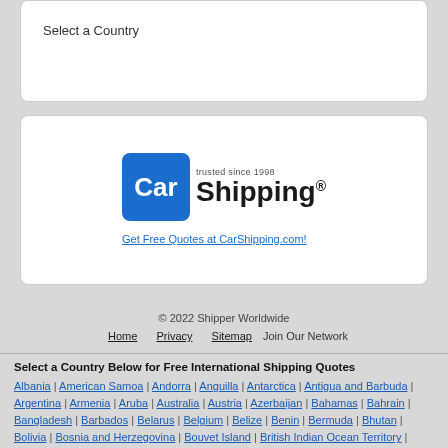Select a Country
[Figure (logo): CarShipping.com logo with blue Car box and Shipping text, trusted since 1998]
Get Free Quotes at CarShipping.com!
© 2022 Shipper Worldwide
Home | Privacy | Sitemap | Join Our Network
Select a Country Below for Free International Shipping Quotes
Albania | American Samoa | Andorra | Anguilla | Antarctica | Antigua and Barbuda | Argentina | Armenia | Aruba | Australia | Austria | Azerbaijan | Bahamas | Bahrain | Bangladesh | Barbados | Belarus | Belgium | Belize | Benin | Bermuda | Bhutan | Bolivia | Bosnia and Herzegovina | Bouvet Island | British Indian Ocean Territory | British Virgin Islands | Brunei Darussalam | Bulgaria |